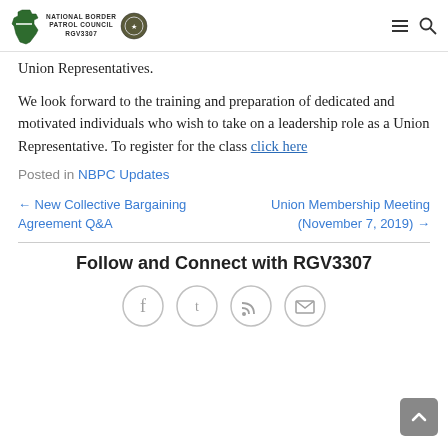National Border Patrol Council RGV3307
Union Representatives.
We look forward to the training and preparation of dedicated and motivated individuals who wish to take on a leadership role as a Union Representative. To register for the class click here
Posted in NBPC Updates
← New Collective Bargaining Agreement Q&A
Union Membership Meeting (November 7, 2019) →
Follow and Connect with RGV3307
[Figure (infographic): Four social media icon circles: Facebook, Twitter, RSS feed, and Email/envelope icons in light gray outlined circles]